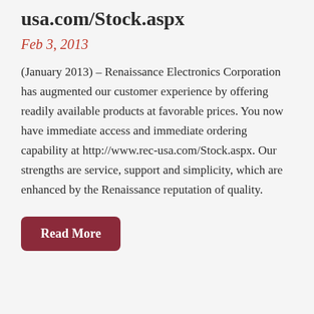usa.com/Stock.aspx
Feb 3, 2013
(January 2013) – Renaissance Electronics Corporation has augmented our customer experience by offering readily available products at favorable prices. You now have immediate access and immediate ordering capability at http://www.rec-usa.com/Stock.aspx. Our strengths are service, support and simplicity, which are enhanced by the Renaissance reputation of quality.
Read More